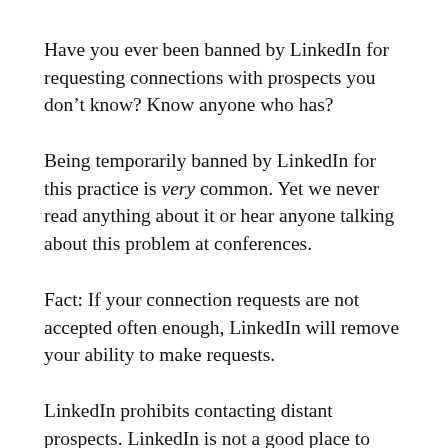Have you ever been banned by LinkedIn for requesting connections with prospects you don’t know? Know anyone who has?
Being temporarily banned by LinkedIn for this practice is very common. Yet we never read anything about it or hear anyone talking about this problem at conferences.
Fact: If your connection requests are not accepted often enough, LinkedIn will remove your ability to make requests.
LinkedIn prohibits contacting distant prospects. LinkedIn is not a good place to contact prospects who don’t know (at least)